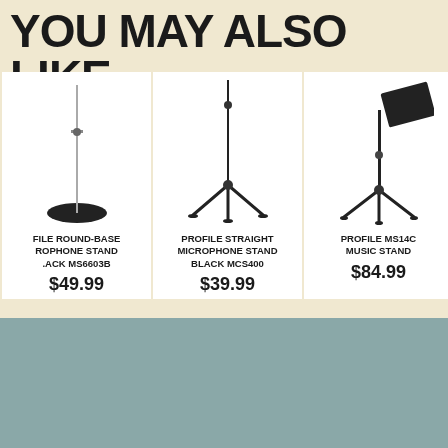YOU MAY ALSO LIKE
[Figure (photo): Profile round-base microphone stand, black, MS6603B — product image on white background]
FILE ROUND-BASE ROPHONE STAND .ACK MS6603B
$49.99
[Figure (photo): Profile straight microphone stand, black, MCS400 — product image on white background]
PROFILE STRAIGHT MICROPHONE STAND BLACK MCS400
$39.99
[Figure (photo): Profile MS140 music stand — product image on white background]
PROFILE MS14C MUSIC STAND
$84.99
Guitarperks
SUBSCRIBE
Sign up to get the latest on sales, new releases